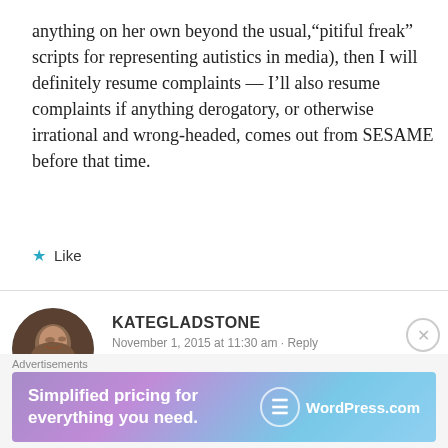anything on her own beyond the usual,“pitiful freak” scripts for representing autistics in media), then I will definitely resume complaints — I’ll also resume complaints if anything derogatory, or otherwise irrational and wrong-headed, comes out from SESAME before that time.
★ Like
KATEGLADSTONE
November 1, 2015 at 11:30 am · Reply
Advertisements
[Figure (screenshot): WordPress.com advertisement banner with text 'Simplified pricing for everything you need.' and WordPress.com logo]